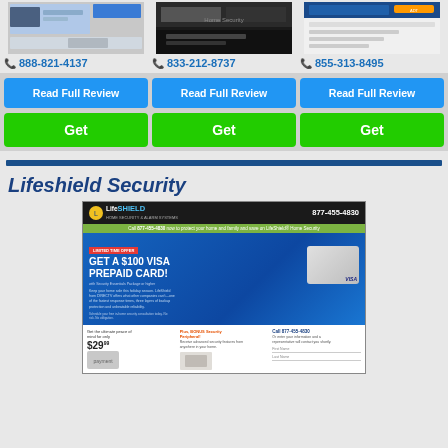[Figure (screenshot): Three home security company screenshots in a row]
888-821-4137
833-212-8737
855-313-8495
Read Full Review
Read Full Review
Read Full Review
Get
Get
Get
Lifeshield Security
[Figure (screenshot): LifeShield home security website screenshot showing Get a $100 Visa Prepaid Card promotion, phone number 877-455-4830, and $29 monthly pricing]